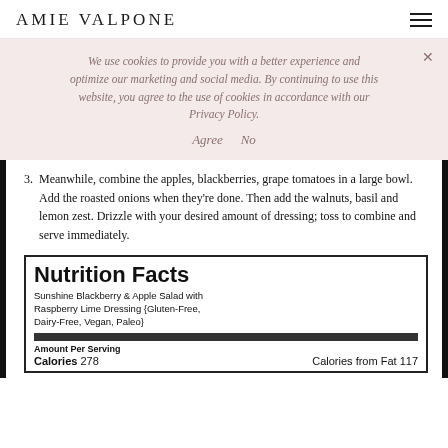AMIE VALPONE
We use cookies to provide you with a better experience and optimize our marketing and social media. By continuing to use this website, you agree to the use of cookies in accordance with our Privacy Policy.
Agree   No
3. Meanwhile, combine the apples, blackberries, grape tomatoes in a large bowl. Add the roasted onions when they're done. Then add the walnuts, basil and lemon zest. Drizzle with your desired amount of dressing; toss to combine and serve immediately.
| Nutrition Facts |  |  |
| --- | --- | --- |
| Sunshine Blackberry & Apple Salad with Raspberry Lime Dressing {Gluten-Free, Dairy-Free, Vegan, Paleo} |  |  |
| Amount Per Serving |  |  |
| Calories 278 | Calories from Fat 117 |  |